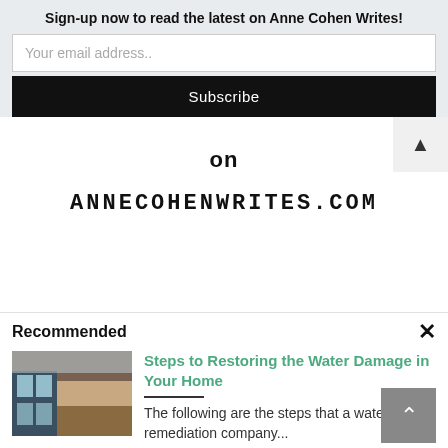Sign-up now to read the latest on Anne Cohen Writes!
Your email address..
Subscribe
on
ANNECOHENWRITES.COM
Recommended
Steps to Restoring the Water Damage in Your Home
The following are the steps that a water remediation company...